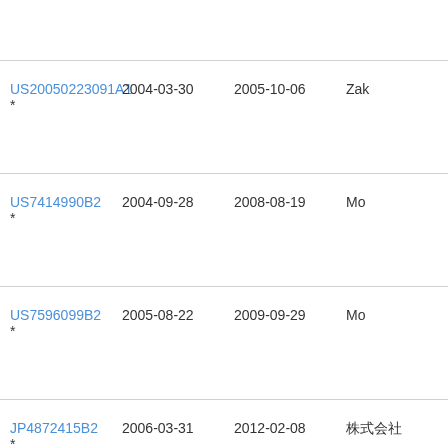| Patent ID | Filing Date | Publication Date | Assignee |
| --- | --- | --- | --- |
| US20050223091A1 * | 2004-03-30 | 2005-10-06 | Zal... |
| US7414990B2 * | 2004-09-28 | 2008-08-19 | Mo... |
| US7596099B2 * | 2005-08-22 | 2009-09-29 | Mo... |
| JP4872415B2 * | 2006-03-31 | 2012-02-08 | 株式会社... |